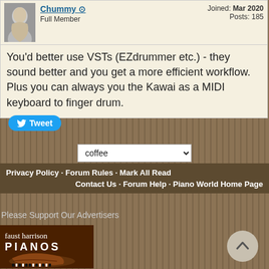Chummy · Full Member · Joined: Mar 2020 · Posts: 185
You'd better use VSTs (EZdrummer etc.) - they sound better and you get a more efficient workflow. Plus you can always you the Kawai as a MIDI keyboard to finger drum.
Tweet
coffee
Privacy Policy · Forum Rules · Mark All Read · Contact Us · Forum Help · Piano World Home Page
Please Support Our Advertisers
[Figure (logo): Faust Harrison Pianos advertisement with grand piano image]
[Figure (other): Scroll to top button with upward chevron arrow]